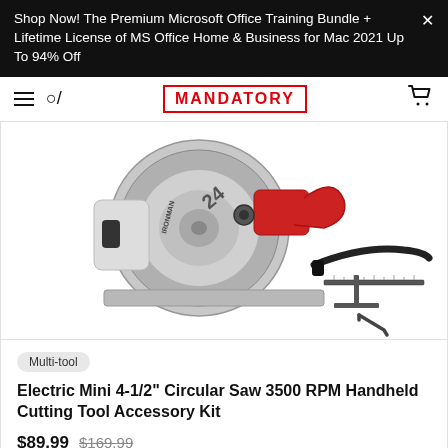Shop Now! The Premium Microsoft Office Training Bundle + Lifetime License of MS Office Home & Business for Mac 2021 Up To 94% Off
MANDATORY
[Figure (photo): Product photo of an Electric Mini 4-1/2 inch Circular Saw (Ironman brand, 3500 RPM, with 24-tooth blade) shown with accessory kit including a flexible hose attachment, rip fence guide, and hex wrench/Allen key.]
Multi-tool
Electric Mini 4-1/2" Circular Saw 3500 RPM Handheld Cutting Tool Accessory Kit
$89.99  $169.99